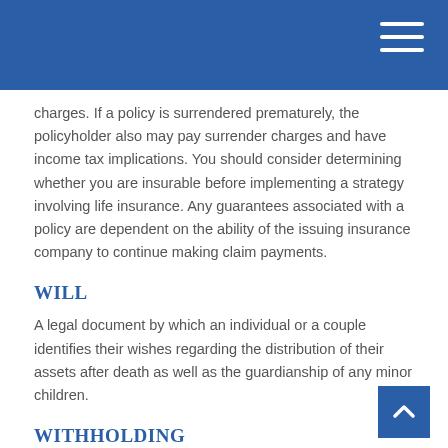charges. If a policy is surrendered prematurely, the policyholder also may pay surrender charges and have income tax implications. You should consider determining whether you are insurable before implementing a strategy involving life insurance. Any guarantees associated with a policy are dependent on the ability of the issuing insurance company to continue making claim payments.
WILL
A legal document by which an individual or a couple identifies their wishes regarding the distribution of their assets after death as well as the guardianship of any minor children.
WITHHOLDING